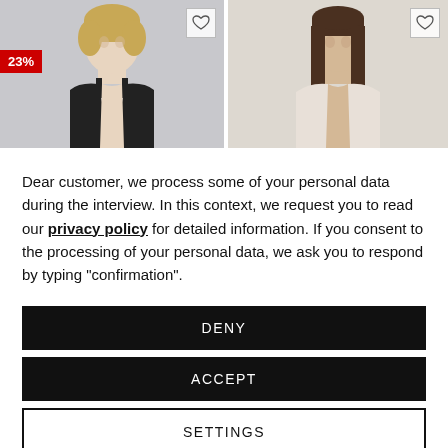[Figure (photo): Two fashion product photos side by side. Left photo shows a woman with short blonde hair wearing a black top, with a red '23%' discount badge. Right photo shows a woman with long dark hair wearing a white top. Both have heart/wishlist icons in the top right corners.]
Dear customer, we process some of your personal data during the interview. In this context, we request you to read our privacy policy for detailed information. If you consent to the processing of your personal data, we ask you to respond by typing "confirmation".
DENY
ACCEPT
SETTINGS
Imprint | Privacy Policy